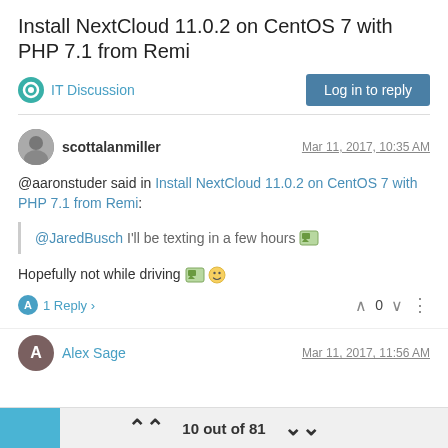Install NextCloud 11.0.2 on CentOS 7 with PHP 7.1 from Remi
IT Discussion | Log in to reply
scottalanmiller  Mar 11, 2017, 10:35 AM
@aaronstuder said in Install NextCloud 11.0.2 on CentOS 7 with PHP 7.1 from Remi:
@JaredBusch I'll be texting in a few hours 🏞️
Hopefully not while driving 🏞️😊
A  1 Reply >    ∧  0  ∨  ⋮
Alex Sage  Mar 11, 2017, 11:56 AM
10 out of 81